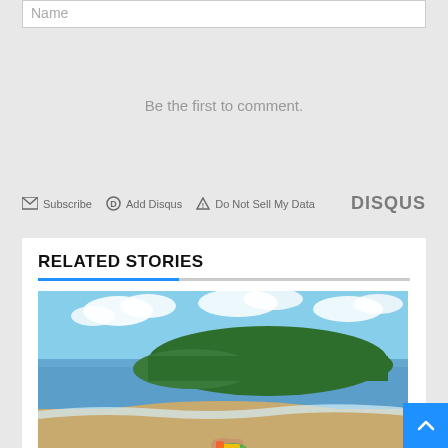Name
Be the first to comment.
Subscribe  Add Disqus  Do Not Sell My Data  DISQUS
RELATED STORIES
[Figure (photo): Beach scene with a green forested island in the background across calm blue water, sandy beach in foreground with a person lying down with colorful items]